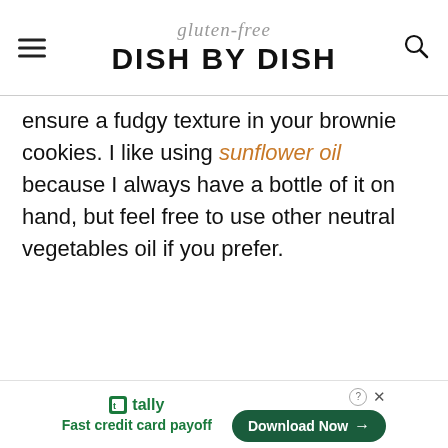gluten-free DISH BY DISH
ensure a fudgy texture in your brownie cookies. I like using sunflower oil because I always have a bottle of it on hand, but feel free to use other neutral vegetables oil if you prefer.
tally Fast credit card payoff | Download Now →